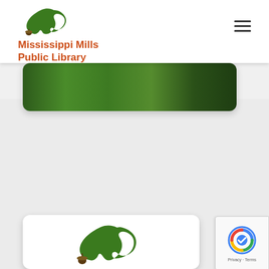[Figure (logo): Mississippi Mills Public Library logo with green oak leaf and acorn, and library name in orange-red text]
[Figure (other): Hamburger menu icon (three horizontal lines) in top right corner]
[Figure (photo): Partially visible card with dark green foliage/plant image at top of content area]
[Figure (other): Gray empty content area in middle of page]
[Figure (logo): Bottom card showing Mississippi Mills Public Library oak leaf logo]
[Figure (other): reCAPTCHA badge in bottom right corner showing Privacy and Terms]